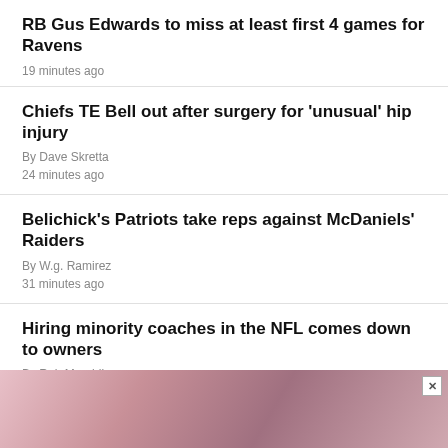RB Gus Edwards to miss at least first 4 games for Ravens
19 minutes ago
Chiefs TE Bell out after surgery for 'unusual' hip injury
By Dave Skretta
24 minutes ago
Belichick's Patriots take reps against McDaniels' Raiders
By W.g. Ramirez
31 minutes ago
Hiring minority coaches in the NFL comes down to owners
By Rob Maaddi
33 minutes ago
[Figure (photo): Advertisement banner with image of a woman, pink/red toned, with a close button (×) in the top right corner]